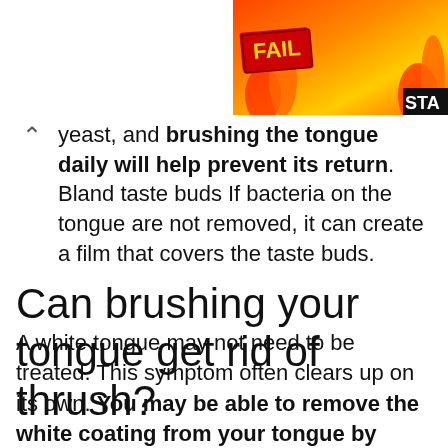[Figure (other): Advertisement banner with orange/flame background, FAIL badge in red/yellow, cartoon character, and STA text cutoff at right edge]
yeast, and brushing the tongue daily will help prevent its return. Bland taste buds If bacteria on the tongue are not removed, it can create a film that covers the taste buds.
Can brushing your tongue get rid of thrush?
A white tongue may not need to be treated. This symptom often clears up on its own. You may be able to remove the white coating from your tongue by gently